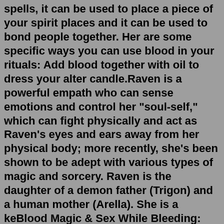spells, it can be used to place a piece of your spirit places and it can be used to bond people together. Her are some specific ways you can use blood in your rituals: Add blood together with oil to dress your alter candle.Raven is a powerful empath who can sense emotions and control her "soul-self," which can fight physically and act as Raven's eyes and ears away from her physical body; more recently, she's been shown to be adept with various types of magic and sorcery. Raven is the daughter of a demon father (Trigon) and a human mother (Arella). She is a keBlood Magic & Sex While Bleeding: This episode of Authentic Sex talks about the power of blood magic and period sex. By combining sex and blood together in ritual, we can manifest a life full of abundance and joy. This topic sheds light on new ways of viewing menstrual blood and sex. From Authentic Sex with Juliet Allen 6 0 16 minutes DescriptionMedieval magic is full of recipes for putting to occult use human fat, human blood, entrails, hands, fingers; medieval medicine utilized as one of its chief